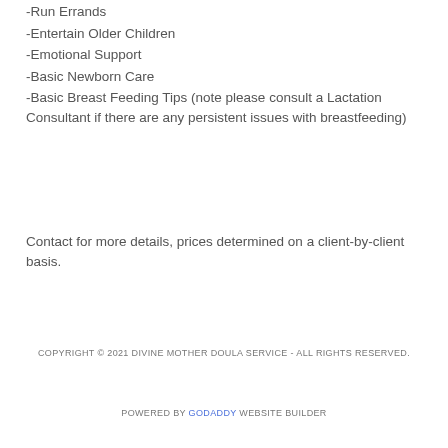-Run Errands
-Entertain Older Children
-Emotional Support
-Basic Newborn Care
-Basic Breast Feeding Tips (note please consult a Lactation Consultant if there are any persistent issues with breastfeeding)
Contact for more details, prices determined on a client-by-client basis.
COPYRIGHT © 2021 DIVINE MOTHER DOULA SERVICE - ALL RIGHTS RESERVED.
POWERED BY GODADDY WEBSITE BUILDER